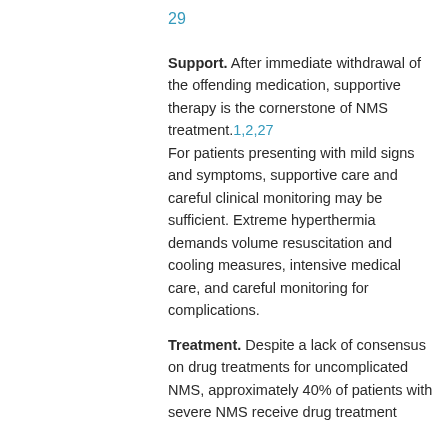29
Support. After immediate withdrawal of the offending medication, supportive therapy is the cornerstone of NMS treatment.1,2,27 For patients presenting with mild signs and symptoms, supportive care and careful clinical monitoring may be sufficient. Extreme hyperthermia demands volume resuscitation and cooling measures, intensive medical care, and careful monitoring for complications.
Treatment. Despite a lack of consensus on drug treatments for uncomplicated NMS, approximately 40% of patients with severe NMS receive drug treatment